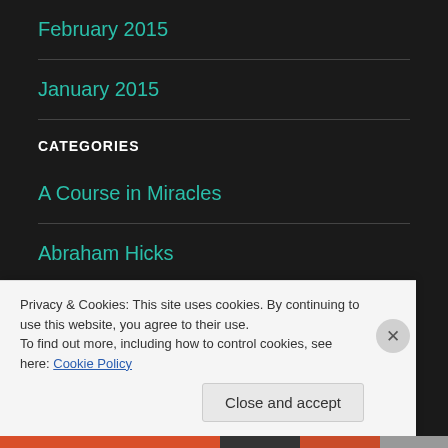February 2015
January 2015
CATEGORIES
A Course in Miracles
Abraham Hicks
Privacy & Cookies: This site uses cookies. By continuing to use this website, you agree to their use.
To find out more, including how to control cookies, see here: Cookie Policy
Close and accept